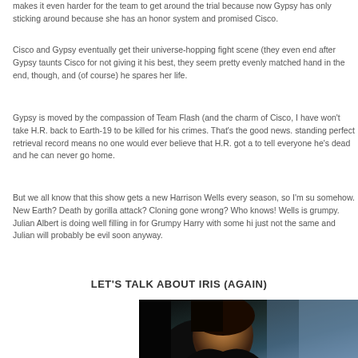makes it even harder for the team to get around the trial because now Gypsy has only sticking around because she has an honor system and promised Cisco.
Cisco and Gypsy eventually get their universe-hopping fight scene (they even end after Gypsy taunts Cisco for not giving it his best, they seem pretty evenly matched hand in the end, though, and (of course) he spares her life.
Gypsy is moved by the compassion of Team Flash (and the charm of Cisco, I have won't take H.R. back to Earth-19 to be killed for his crimes. That's the good news. standing perfect retrieval record means no one would ever believe that H.R. got a to tell everyone he's dead and he can never go home.
But we all know that this show gets a new Harrison Wells every season, so I'm su somehow. New Earth? Death by gorilla attack? Cloning gone wrong? Who knows! Wells is grumpy. Julian Albert is doing well filling in for Grumpy Harry with some hi just not the same and Julian will probably be evil soon anyway.
LET'S TALK ABOUT IRIS (AGAIN)
[Figure (photo): Photo of a woman with dark hair, partially lit face, dark background with teal/blue tones]